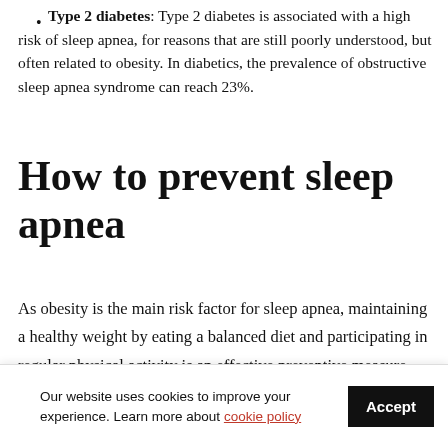Type 2 diabetes: Type 2 diabetes is associated with a high risk of sleep apnea, for reasons that are still poorly understood, but often related to obesity. In diabetics, the prevalence of obstructive sleep apnea syndrome can reach 23%.
How to prevent sleep apnea
As obesity is the main risk factor for sleep apnea, maintaining a healthy weight by eating a balanced diet and participating in regular physical activity is an effective preventive measure.
Our website uses cookies to improve your experience. Learn more about cookie policy
obstructive sleep apnea. Finally, if you have high blood